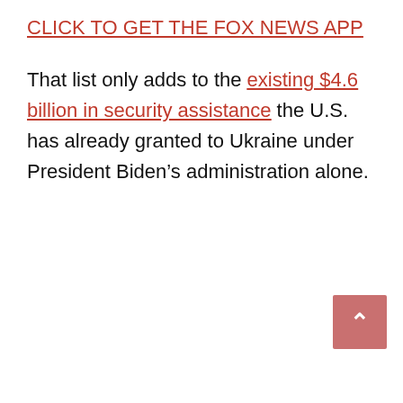CLICK TO GET THE FOX NEWS APP
That list only adds to the existing $4.6 billion in security assistance the U.S. has already granted to Ukraine under President Biden’s administration alone.